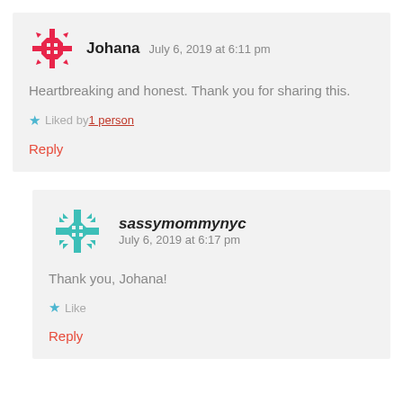Johana   July 6, 2019 at 6:11 pm
Heartbreaking and honest. Thank you for sharing this.
Liked by 1 person
Reply
sassymommynyc   July 6, 2019 at 6:17 pm
Thank you, Johana!
Like
Reply